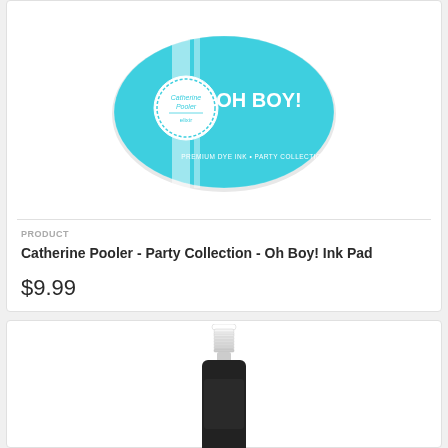[Figure (photo): Catherine Pooler Oh Boy! ink pad — oval turquoise/aqua blue stamp pad with white circular logo on left side reading 'Catherine Pooler' and 'OH BOY!' text in white, with 'PREMIUM DYE INK - PARTY COLLECTION' text at bottom]
PRODUCT
Catherine Pooler - Party Collection - Oh Boy! Ink Pad
$9.99
[Figure (photo): Dark ink bottle with white ribbed dropper cap, partially visible at bottom of page]